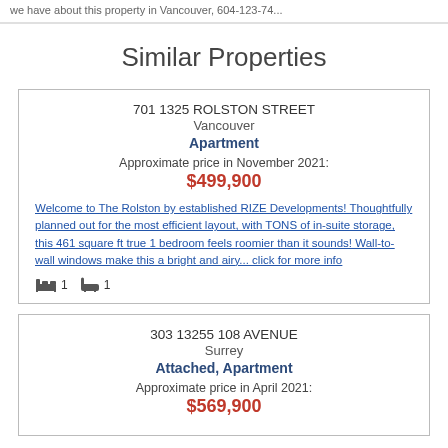we have about this property in Vancouver, 604-123-74...
Similar Properties
701 1325 ROLSTON STREET
Vancouver
Apartment
Approximate price in November 2021:
$499,900
Welcome to The Rolston by established RIZE Developments! Thoughtfully planned out for the most efficient layout, with TONS of in-suite storage, this 461 square ft true 1 bedroom feels roomier than it sounds! Wall-to-wall windows make this a bright and airy... click for more info
Bed: 1  Bath: 1
303 13255 108 AVENUE
Surrey
Attached, Apartment
Approximate price in April 2021:
$569,900